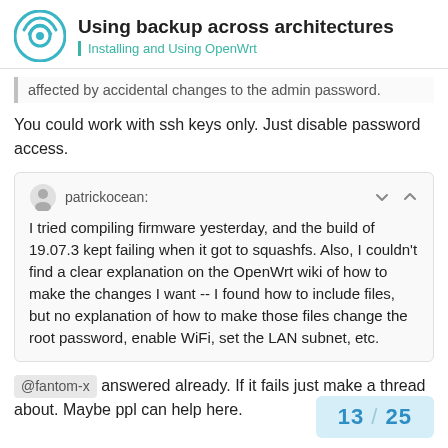Using backup across architectures — Installing and Using OpenWrt
affected by accidental changes to the admin password.
You could work with ssh keys only. Just disable password access.
patrickocean: I tried compiling firmware yesterday, and the build of 19.07.3 kept failing when it got to squashfs. Also, I couldn't find a clear explanation on the OpenWrt wiki of how to make the changes I want -- I found how to include files, but no explanation of how to make those files change the root password, enable WiFi, set the LAN subnet, etc.
@fantom-x answered already. If it fails just make a thread about. Maybe ppl can help here.
13 / 25